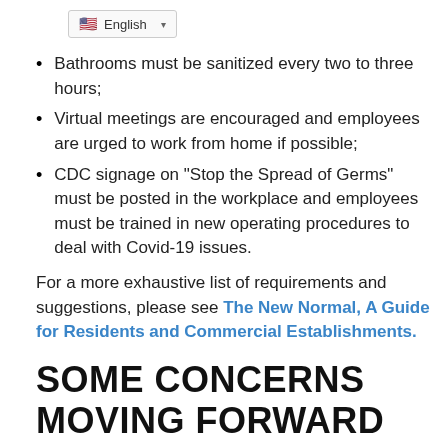English
Bathrooms must be sanitized every two to three hours;
Virtual meetings are encouraged and employees are urged to work from home if possible;
CDC signage on “Stop the Spread of Germs” must be posted in the workplace and employees must be trained in new operating procedures to deal with Covid-19 issues.
For a more exhaustive list of requirements and suggestions, please see The New Normal, A Guide for Residents and Commercial Establishments.
SOME CONCERNS MOVING FORWARD UNDER THE NEW NORMAL